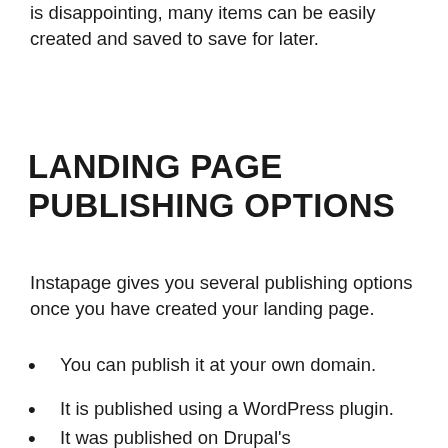is disappointing, many items can be easily created and saved to save for later.
LANDING PAGE PUBLISHING OPTIONS
Instapage gives you several publishing options once you have created your landing page.
You can publish it at your own domain.
It is published using a WordPress plugin.
It was published on Drupal's